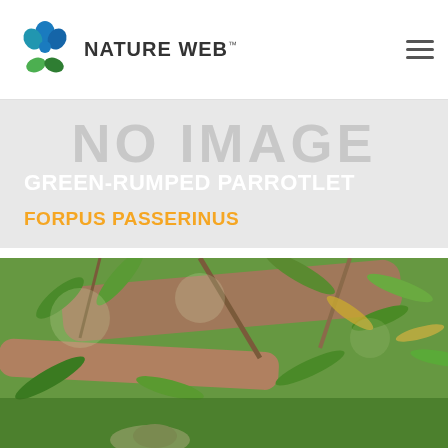NATURE WEB
[Figure (other): No image placeholder banner with text 'NO IMAGE', species common name 'GREEN-RUMPED PARROTLET' and latin name 'FORPUS PASSERINUS']
[Figure (photo): Nature photograph showing branches and green leaves, likely bamboo or similar plant, with a bird partially visible at the bottom]